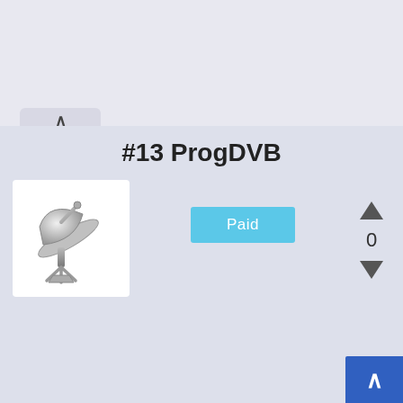#13 ProgDVB
[Figure (illustration): Satellite dish icon in grayscale/metallic style on white background]
Paid
0
ProgDVB is a universal software designed to provide a rich digital TV experience and listen to many radio tasks. The software comes with elegant functions, but you can use it by mouse and is supported on Android, iOS and Windows devices. You will have a great time...